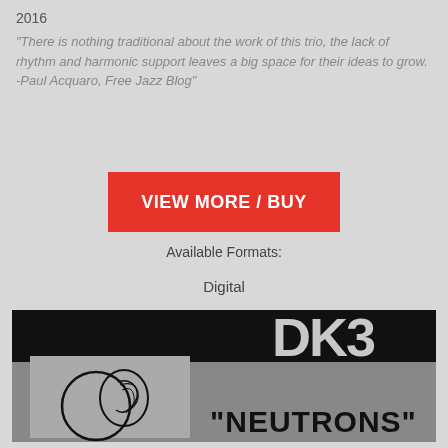2016
"There is nothing traditional about the work of this trio, the lack of rhythm and harmonic support leaves a big space for their ideas to grow. -Paul Acquaro, Free Jazz Blog"
VIEW MORE / BUY
Available Formats:
Digital
[Figure (photo): Album cover for DK3 'Neutrons' showing black and grey background with large white 'DK3' text and '"NEUTRONS"' text, with an illustrated logo of two overlapping circular shapes on a grey rectangle on the left side.]